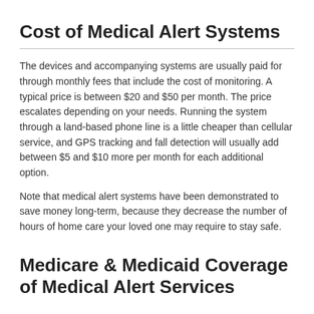Cost of Medical Alert Systems
The devices and accompanying systems are usually paid for through monthly fees that include the cost of monitoring. A typical price is between $20 and $50 per month. The price escalates depending on your needs. Running the system through a land-based phone line is a little cheaper than cellular service, and GPS tracking and fall detection will usually add between $5 and $10 more per month for each additional option.
Note that medical alert systems have been demonstrated to save money long-term, because they decrease the number of hours of home care your loved one may require to stay safe.
Medicare & Medicaid Coverage of Medical Alert Services